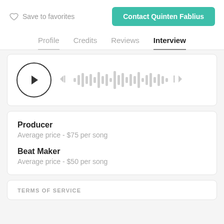Save to favorites
Contact Quinten Fablius
Profile  Credits  Reviews  Interview
[Figure (other): Audio player card with play button circle, skip-back icon, waveform visualization, skip-forward icon]
Producer
Average price - $75 per song
Beat Maker
Average price - $50 per song
TERMS OF SERVICE